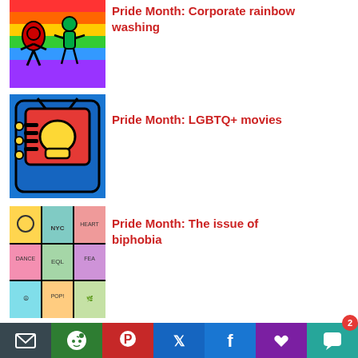[Figure (photo): Colorful Keith Haring style rainbow illustration with figures]
Pride Month: Corporate rainbow washing
[Figure (illustration): Keith Haring style illustration of a television with bold colors]
Pride Month: LGBTQ+ movies
[Figure (illustration): Colorful pop art grid illustration with NYC theme and various symbols]
Pride Month: The issue of biphobia
[Figure (infographic): Dark red social media icon bar with Facebook, Twitter, Instagram, TikTok, Spotify, Pinterest, YouTube, and donate icons]
[Figure (infographic): Bottom share bar with email, Reddit, Pinterest, Twitter, Facebook, like, and comment buttons, with badge showing 2]